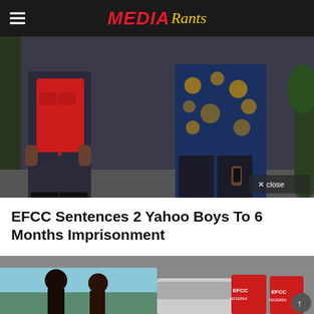Media Rants
[Figure (photo): Two men walking, one wearing a red vest and suit, another wearing a gold and blue patterned shirt, photographed from mid-body down]
EFCC Sentences 2 Yahoo Boys To 6 Months Imprisonment
[Figure (photo): Two-panel bottom strip: left panel shows people in outdoor setting with light blue background; right panel shows men in red EFCC vests near a vehicle]